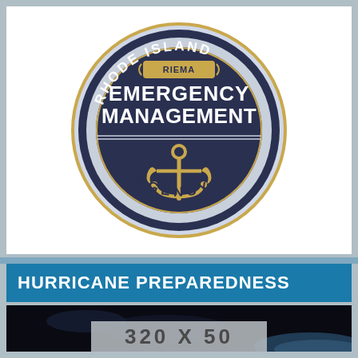[Figure (logo): Rhode Island Emergency Management Agency (RIEMA) circular seal/badge. Dark navy blue circle with gold border rings. Top arc text: RHODE ISLAND. Center: RIEMA banner/scroll. Large white bold text: EMERGENCY MANAGEMENT. Bottom arc text: AGENCY. Gold anchor with decorative flourishes in lower half of circle.]
HURRICANE PREPAREDNESS
[Figure (photo): Dark satellite or aerial view image of Earth/storm system from space. A semi-transparent gray banner overlay at the bottom reads '320 X 50'.]